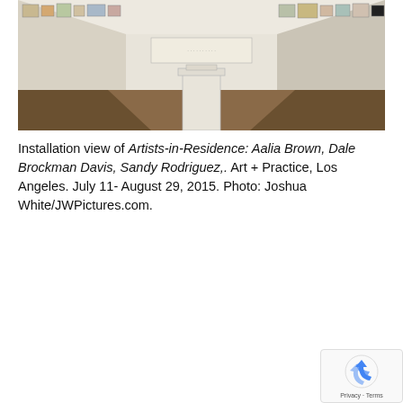[Figure (photo): Installation view of an art gallery interior showing artworks hung along white walls, a white pedestal/plinth in the center of the room, a polished concrete floor with a visible crack/seam, and a large window or bright area in the background. Multiple framed artworks are visible on both left and right walls.]
Installation view of Artists-in-Residence: Aalia Brown, Dale Brockman Davis, Sandy Rodriguez,. Art + Practice, Los Angeles. July 11- August 29, 2015. Photo: Joshua White/JWPictures.com.